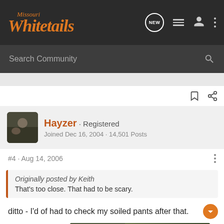Missouri Whitetails
Search Community
Hayzer · Registered
Joined Dec 16, 2004 · 14,501 Posts
#4 · Aug 14, 2006
Originally posted by Keith
That's too close. That had to be scary.
ditto - I'd of had to check my soiled pants after that.
[Figure (screenshot): Chevrolet advertisement banner: THE NEW 2022 SILVERADO. with Explore button and truck image with Chevrolet logo]
"History i